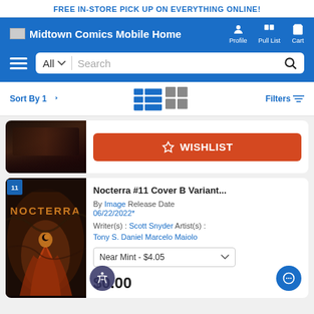FREE IN-STORE PICK UP ON EVERYTHING ONLINE!
Midtown Comics Mobile Home  Profile  Pull List  Cart
[Figure (screenshot): Partially visible comic book cover at top of product listing]
WISHLIST
[Figure (illustration): Nocterra #11 comic book cover showing a female character in red costume against dark background]
Nocterra #11 Cover B Variant... By Image Release Date 06/22/2022* Writer(s) : Scott Snyder Artist(s) : Tony S. Daniel Marcelo Maiolo Near Mint - $4.05 $0.00